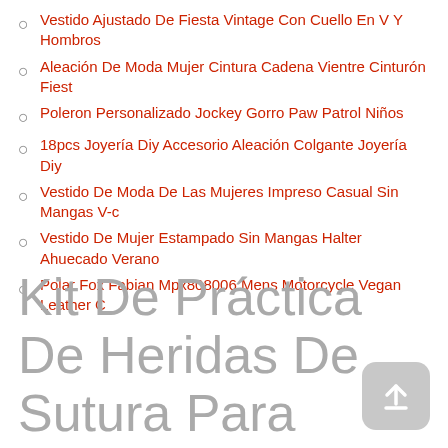Vestido Ajustado De Fiesta Vintage Con Cuello En V Y Hombros
Aleación De Moda Mujer Cintura Cadena Vientre Cinturón Fiest
Poleron Personalizado Jockey Gorro Paw Patrol Niños
18pcs Joyería Diy Accesorio Aleación Colgante Joyería Diy
Vestido De Moda De Las Mujeres Impreso Casual Sin Mangas V-c
Vestido De Mujer Estampado Sin Mangas Halter Ahuecado Verano
Polar Fox Fabian Mpx808006 Mens Motorcycle Vegan Leather C
Kit De Práctica De Heridas De Sutura Para Estudiantes Kit De